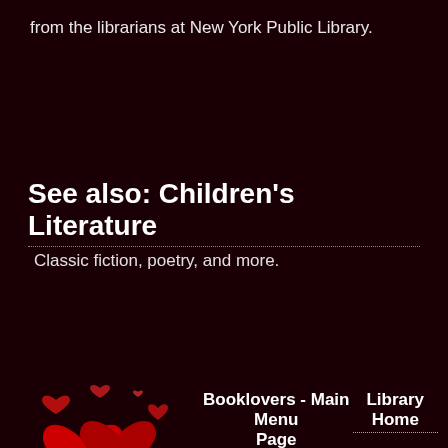from the librarians at New York Public Library.
See also: Children's Literature
Classic fiction, poetry, and more.
[Figure (illustration): A decorative image of red hearts — two large overlapping hearts with small heart accents, styled like a paw print made of hearts, on a dark red background.]
Booklovers - Main Menu Page
Library Home